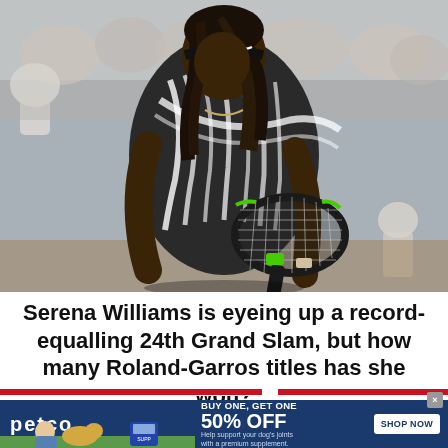[Figure (photo): Serena Williams on a tennis court, looking down, holding a tennis racket with green accents, wearing a black and white patterned outfit and black headband. Blurred crowd visible in background.]
Serena Williams is eyeing up a record-equalling 24th Grand Slam, but how many Roland-Garros titles has she won?
[Figure (other): Petco advertisement banner: BUY ONE, GET ONE 50% OFF. Help support your dog's joints with a premium supplement. SHOP NOW button. Image of person with dog on grass with supplement product.]